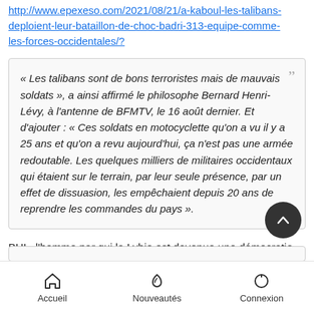http://www.epexeso.com/2021/08/21/a-kaboul-les-talibans-deploient-leur-bataillon-de-choc-badri-313-equipe-comme-les-forces-occidentales/?
« Les talibans sont de bons terroristes mais de mauvais soldats », a ainsi affirmé le philosophe Bernard Henri-Lévy, à l'antenne de BFMTV, le 16 août dernier. Et d'ajouter : « Ces soldats en motocyclette qu'on a vu il y a 25 ans et qu'on a revu aujourd'hui, ça n'est pas une armée redoutable. Les quelques milliers de militaires occidentaux qui étaient sur le terrain, par leur seule présence, par un effet de dissuasion, les empêchaient depuis 20 ans de reprendre les commandes du pays ».
BHL, l'homme par qui la Lybie est devenue une démocratie un état islamiste
Accueil   Nouveautés   Connexion